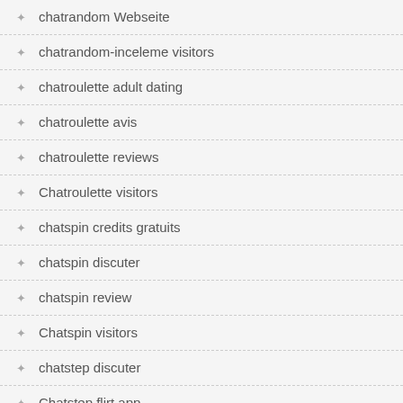chatrandom Webseite
chatrandom-inceleme visitors
chatroulette adult dating
chatroulette avis
chatroulette reviews
Chatroulette visitors
chatspin credits gratuits
chatspin discuter
chatspin review
Chatspin visitors
chatstep discuter
Chatstep flirt app